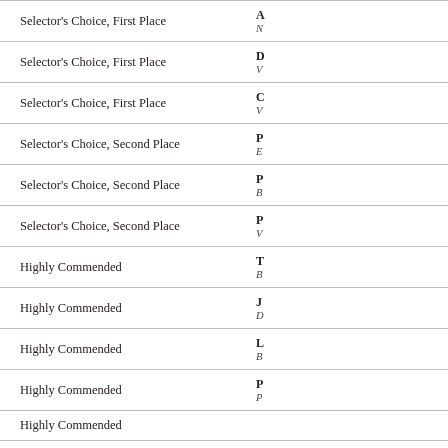| Award | Recipient |
| --- | --- |
| Selector's Choice, First Place | A…
N… |
| Selector's Choice, First Place | D…
V… |
| Selector's Choice, First Place | C…
V… |
| Selector's Choice, Second Place | P…
E… |
| Selector's Choice, Second Place | P…
B… |
| Selector's Choice, Second Place | P…
V… |
| Highly Commended | T…
B… |
| Highly Commended | J…
D… |
| Highly Commended | L…
B… |
| Highly Commended | P…
P… |
| Highly Commended | … |